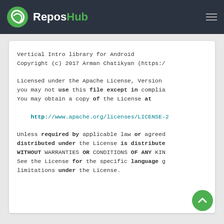ReposHub
Vertical Intro library for Android
Copyright (c) 2017 Arman Chatikyan (https:/

Licensed under the Apache License, Version
you may not use this file except in complia
You may obtain a copy of the License at

    http://www.apache.org/licenses/LICENSE-2

Unless required by applicable law or agreed
distributed under the License is distribute
WITHOUT WARRANTIES OR CONDITIONS OF ANY KIN
See the License for the specific language g
limitations under the License.